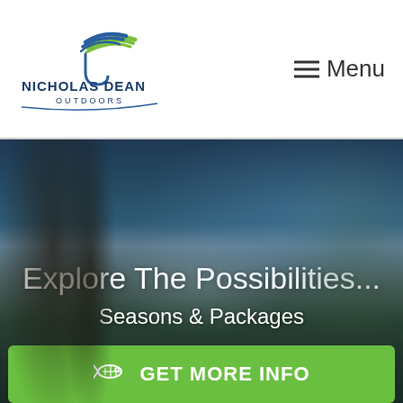[Figure (logo): Nicholas Dean Outdoors logo with stylized fishing fly in blue and green, company name below]
≡ Menu
[Figure (photo): Scenic nature photo: forested mountain river valley with tall trees, cloudy sky, dark atmospheric tones overlaid with semi-transparent dark layer]
Explore The Possibilities...
Seasons & Packages
GET MORE INFO